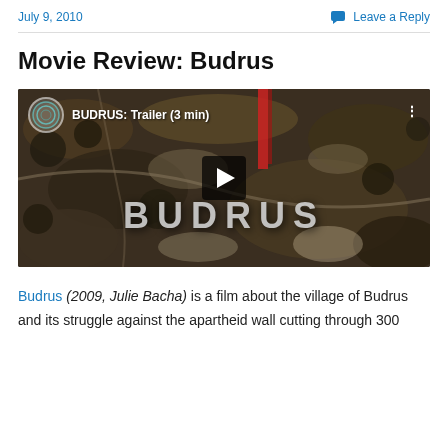July 9, 2010    Leave a Reply
Movie Review: Budrus
[Figure (screenshot): YouTube video thumbnail for BUDRUS: Trailer (3 min) showing aerial view with the word BUDRUS overlaid and a play button in the center]
Budrus (2009, Julie Bacha) is a film about the village of Budrus and its struggle against the apartheid wall cutting through 300